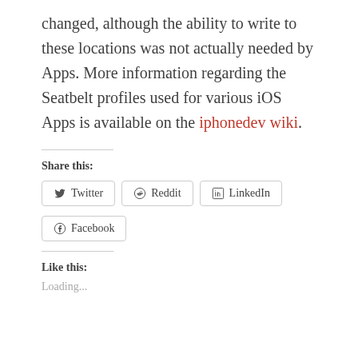changed, although the ability to write to these locations was not actually needed by Apps. More information regarding the Seatbelt profiles used for various iOS Apps is available on the iphonedev wiki.
Share this:
Twitter Reddit LinkedIn Facebook
Like this:
Loading...